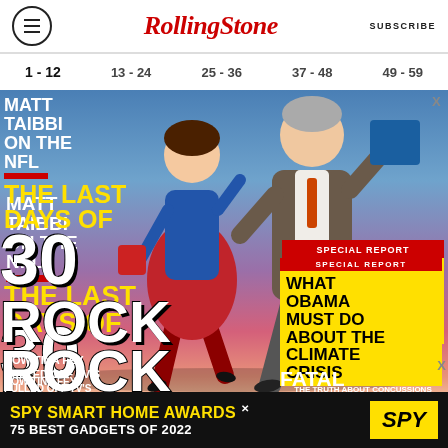Rolling Stone | SUBSCRIBE
1 - 12
13 - 24
25 - 36
37 - 48
49 - 59
[Figure (illustration): Rolling Stone magazine cover showing two animated characters (a woman in red skirt and a man in grey suit) running, with cover text overlaid. Left side: MATT TAIBBI ON THE NFL, THE LAST DAYS OF 30 ROCK, HOW TINA FEY PULLED OFF TV'S. Right side: SPECIAL REPORT - WHAT OBAMA MUST DO ABOUT THE CLIMATE CRISIS; FATAL SPORTS - THE TRUTH ABOUT CONCUSSIONS AND HIGH SCHOOL FOOTBALL.]
SPY SMART HOME AWARDS 75 BEST GADGETS OF 2022 / SPY